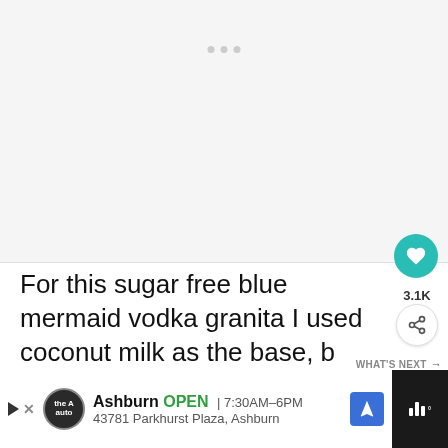[Figure (photo): Light grey placeholder image area with three small dots at the top center indicating a carousel/slideshow]
For this sugar free blue mermaid vodka granita I used coconut milk as the base, but almond milk or even half and half would work too!
[Figure (infographic): Advertisement bar at bottom: Ashburn OPEN 7:30AM-6PM, 43781 Parkhurst Plaza, Ashburn, The A auto logo, navigation arrow icon, and sound/audio controls on dark right side]